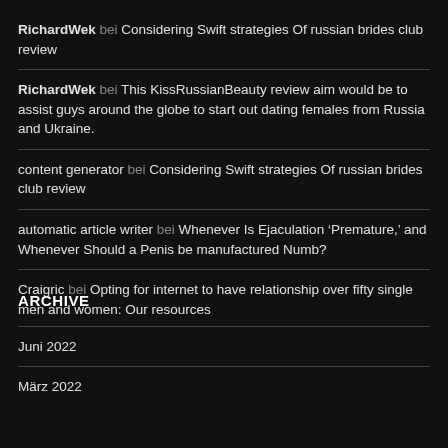RichardWek bei Considering Swift strategies Of russian brides club review
RichardWek bei This KissRussianBeauty review aim would be to assist guys around the globe to start out dating females from Russia and Ukraine.
content generator bei Considering Swift strategies Of russian brides club review
automatic article writer bei Whenever Is Ejaculation ‘Premature,’ and Whenever Should a Penis be manufactured Numb?
Craigric bei Opting for internet to have relationship over fifty single men and women: Our resources
ARCHIVE
Juni 2022
März 2022